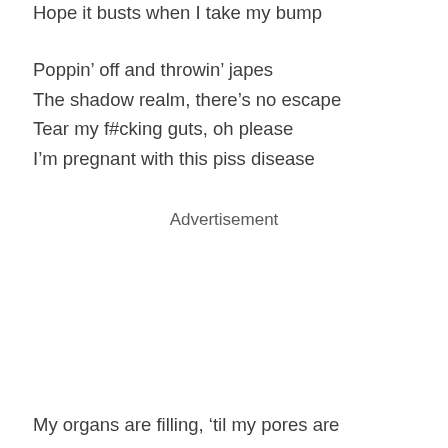Hope it busts when I take my bump
Poppin’ off and throwin’ japes
The shadow realm, there’s no escape
Tear my f#cking guts, oh please
I’m pregnant with this piss disease
Advertisement
My organs are filling, ‘til my pores are